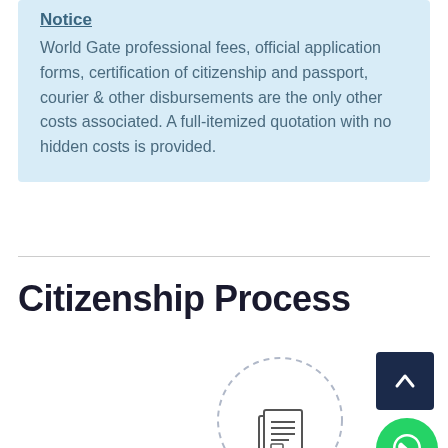Notice
World Gate professional fees, official application forms, certification of citizenship and passport, courier & other disbursements are the only other costs associated. A full-itemized quotation with no hidden costs is provided.
Citizenship Process
[Figure (illustration): Dashed circle outline with a document/papers icon in the center, representing a step in the citizenship process]
[Figure (illustration): Dark navy scroll-to-top button with upward chevron arrow]
[Figure (illustration): Green circular WhatsApp contact button with WhatsApp logo]